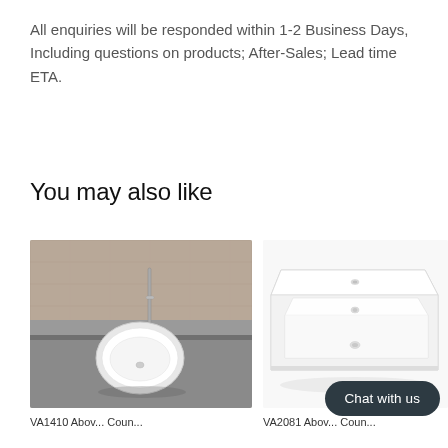All enquiries will be responded within 1-2 Business Days, Including questions on products; After-Sales; Lead time ETA.
You may also like
[Figure (photo): Photo of a round white ceramic vessel sink on a grey stone countertop with a chrome faucet and wood-look tile wall behind]
[Figure (photo): Photo of a rectangular white ceramic countertop basin with overflow hole and tap hole on white background]
VA1410 Abov... Coun...
VA2081 Abov... Coun...